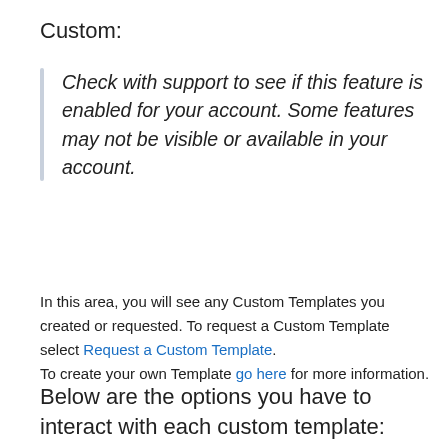Custom:
Check with support to see if this feature is enabled for your account. Some features may not be visible or available in your account.
In this area, you will see any Custom Templates you created or requested. To request a Custom Template select Request a Custom Template.
To create your own Template go here for more information.
Below are the options you have to interact with each custom template: